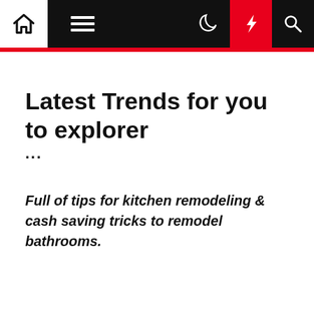Navigation bar with home, menu, moon, bolt, search icons
Latest Trends for you to explorer
...
Full of tips for kitchen remodeling & cash saving tricks to remodel bathrooms.